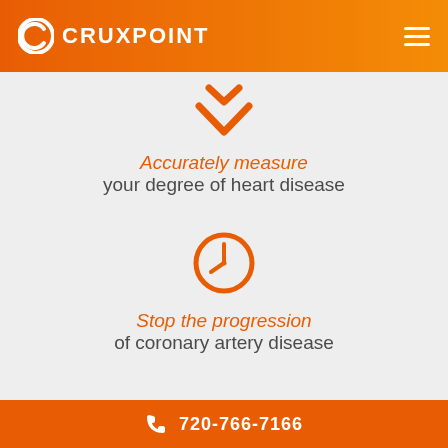CRUXPOINT
[Figure (illustration): Orange downward chevron/arrow icon]
Accurately measure your degree of heart disease
[Figure (illustration): Orange clock/time icon circle]
Stop the progression of coronary artery disease
720-766-7166